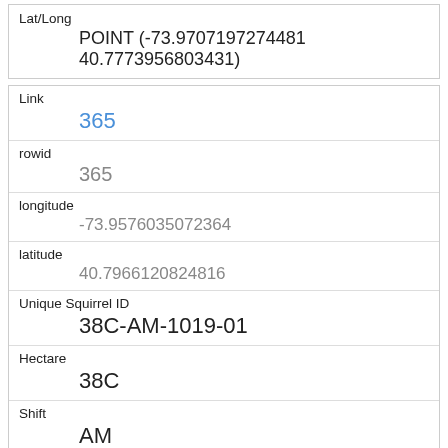| Field | Value |
| --- | --- |
| Lat/Long | POINT (-73.9707197274481 40.7773956803431) |
| Link | 365 |
| rowid | 365 |
| longitude | -73.9576035072364 |
| latitude | 40.7966120824816 |
| Unique Squirrel ID | 38C-AM-1019-01 |
| Hectare | 38C |
| Shift | AM |
| Date | 10192018 |
| Hectare Squirrel Number |  |